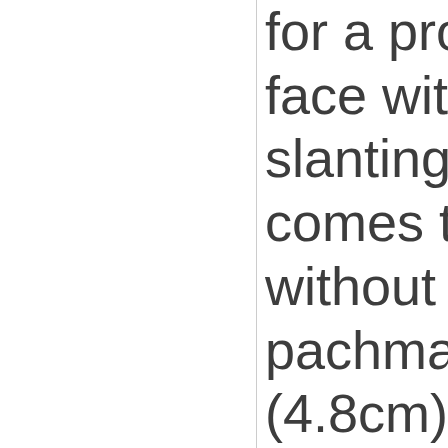for a profe face with "slanting" h comes to s without dra pachmayr (4.8cm) x 5 12.7mm. H universal s pads by Pa